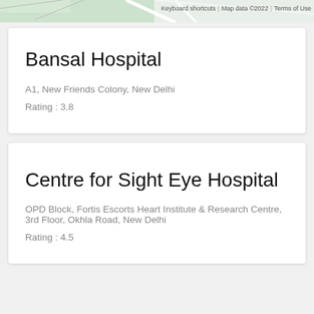[Figure (map): Top strip showing partial map view with green areas and white road lines, with 'Keyboard shortcuts', 'Map data ©2022', and 'Terms of Use' labels at top right]
Bansal Hospital
A1, New Friends Colony, New Delhi
Rating : 3.8
Centre for Sight Eye Hospital
OPD Block, Fortis Escorts Heart Institute & Research Centre, 3rd Floor, Okhla Road, New Delhi
Rating : 4.5